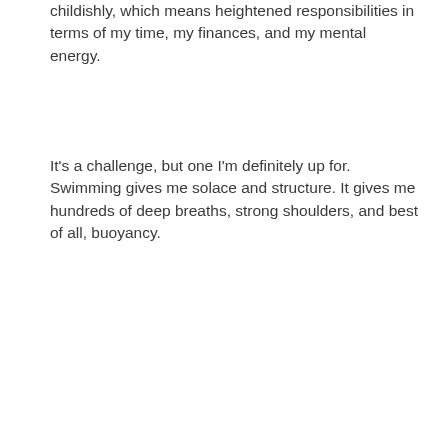childishly, which means heightened responsibilities in terms of my time, my finances, and my mental energy.
It's a challenge, but one I'm definitely up for. Swimming gives me solace and structure. It gives me hundreds of deep breaths, strong shoulders, and best of all, buoyancy.